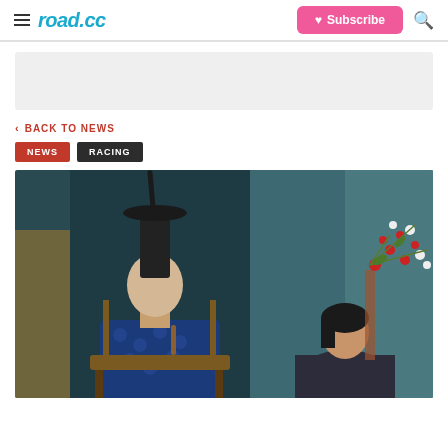road.cc — Subscribe — Search
[Figure (other): Grey ad banner placeholder]
< BACK TO NEWS
NEWS   RACING
[Figure (photo): A man wearing traditional Japanese ceremonial robes and a tall black hat (eboshi) sits at an event, holding something. He appears to be a Western cyclist (Chris Froome). Next to him is an Asian woman. The background shows a dark blue curtain and a floral arrangement with red and white blooms.]